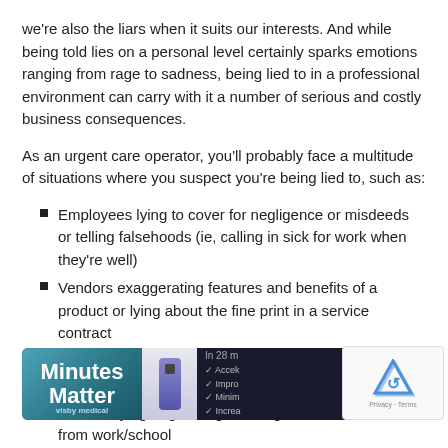we're also the liars when it suits our interests. And while being told lies on a personal level certainly sparks emotions ranging from rage to sadness, being lied to in a professional environment can carry with it a number of serious and costly business consequences.
As an urgent care operator, you'll probably face a multitude of situations where you suspect you're being lied to, such as:
Employees lying to cover for negligence or misdeeds or telling falsehoods (ie, calling in sick for work when they're well)
Vendors exaggerating features and benefits of a product or lying about the fine print in a service contract
Job applicants overselling past experience or concealing past issues
Patients lying to get drugs, or to get a doctor's excuse from work/school
Patients lying about the circumstances surrounding workers' compensation injury (ie, portraying a minor injury as more se…
Employees… her for